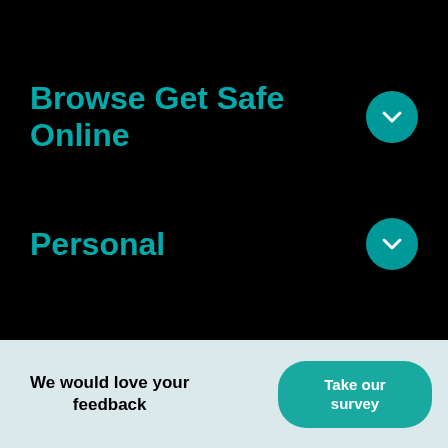Browse Get Safe Online
Personal
Business
This website uses cookies to ensure that users get the best experience, and helps us improve our services. Learn more
We would love your feedback
Take our survey